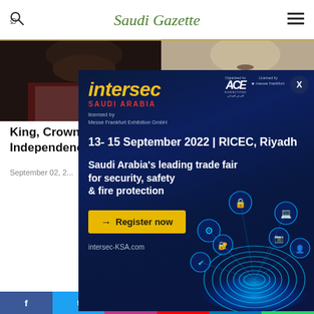Saudi Gazette
[Figure (photo): Two men in traditional Saudi dress, partially visible from chest/shoulders up against a dark background]
King, Crown P... Independence...
September 02, 2...
[Figure (advertisement): Intersec Saudi Arabia advertisement. Dark navy blue background with fingerprint/security tech graphic. Text: intersec SAUDI ARABIA. licensed by Messe Frankfurt Exhibition GmbH. 13-15 September 2022 | RICEC, Riyadh. Saudi Arabia's leading trade fair for security, safety & fire protection. Register now button. intersec-KSA.com. Logos: ACE Exhibitions and messe frankfurt.]
f  t  Instagram  YouTube  in  WhatsApp